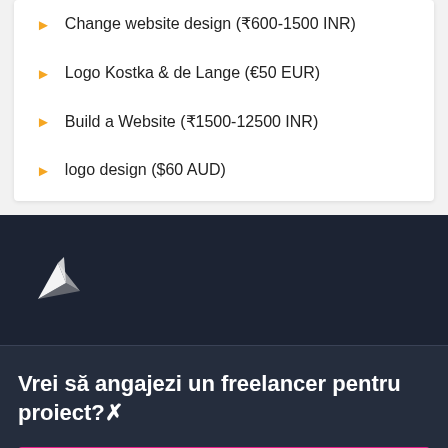Change website design (₹600-1500 INR)
Logo Kostka & de Lange (€50 EUR)
Build a Website (₹1500-12500 INR)
logo design ($60 AUD)
[Figure (logo): Freelancer hummingbird/origami bird logo in white on dark navy background]
Vrei să angajezi un freelancer pentru proiect?
Postează un proiect